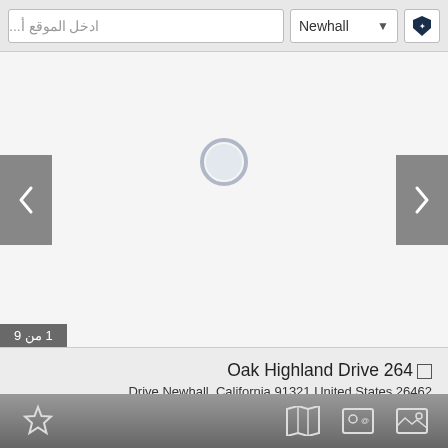ادخل الموقع أ...
Newhall
[Figure (screenshot): Image carousel area with left/right navigation arrows and loading circle indicator. Shows '1 من 9' counter badge.]
1 من 9
Oak Highland Drive 264
... Drive Newhall, California 91321 United States 26462
$2,950 MONTHLY
1,198
2
2
.Listing Courtesy of Kellar-Davis,Inc